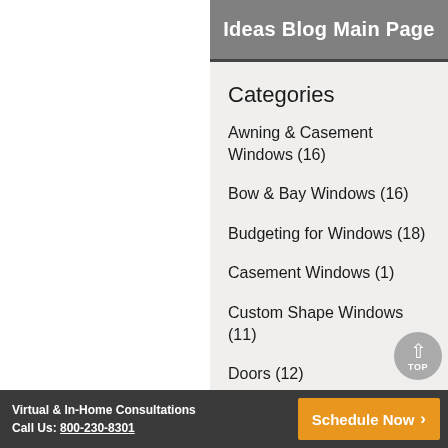Ideas Blog Main Page
Categories
Awning & Casement Windows (16)
Bow & Bay Windows (16)
Budgeting for Windows (18)
Casement Windows (1)
Custom Shape Windows (11)
Doors (12)
Double-Hung Windows (20)
Energy-Efficient Windows (50)
Virtual & In-Home Consultations Call Us: 800-230-8301   Schedule Now >